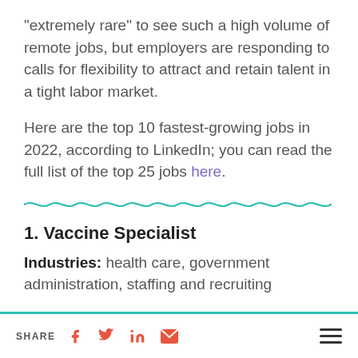“extremely rare” to see such a high volume of remote jobs, but employers are responding to calls for flexibility to attract and retain talent in a tight labor market.
Here are the top 10 fastest-growing jobs in 2022, according to LinkedIn; you can read the full list of the top 25 jobs here.
1. Vaccine Specialist
Industries: health care, government administration, staffing and recruiting
SHARE